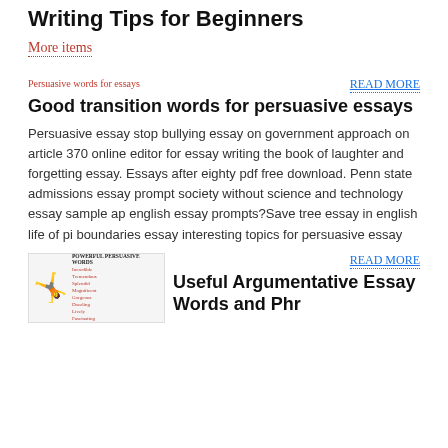Writing Tips for Beginners
More items
[Figure (other): Image placeholder for 'Persuasive words for essays']
Good transition words for persuasive essays
Persuasive essay stop bullying essay on government approach on article 370 online editor for essay writing the book of laughter and forgetting essay. Essays after eighty pdf free download. Penn state admissions essay prompt society without science and technology essay sample ap english essay prompts?Save tree essay in english life of pi boundaries essay interesting topics for persuasive essay
[Figure (infographic): Powerful Persuasive Words list with illustrated figure: Incredible, Tremendous, Splendid, Magnificent, Gorgeous, Dazzling, Lively, Fascinating]
Useful Argumentative Essay Words and Phrases